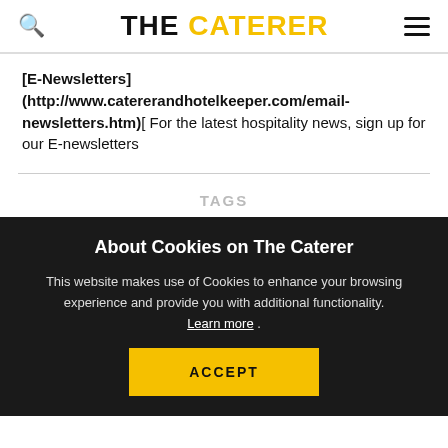THE CATERER
[E-Newsletters] (http://www.catererandhotelkeeper.com/email-newsletters.htm)[ For the latest hospitality news, sign up for our E-newsletters
TAGS
About Cookies on The Caterer
This website makes use of Cookies to enhance your browsing experience and provide you with additional functionality. Learn more .
ACCEPT